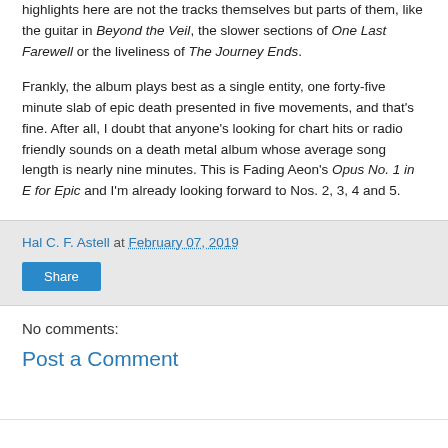highlights here are not the tracks themselves but parts of them, like the guitar in Beyond the Veil, the slower sections of One Last Farewell or the liveliness of The Journey Ends.
Frankly, the album plays best as a single entity, one forty-five minute slab of epic death presented in five movements, and that's fine. After all, I doubt that anyone's looking for chart hits or radio friendly sounds on a death metal album whose average song length is nearly nine minutes. This is Fading Aeon's Opus No. 1 in E for Epic and I'm already looking forward to Nos. 2, 3, 4 and 5.
Hal C. F. Astell at February 07, 2019
Share
No comments:
Post a Comment